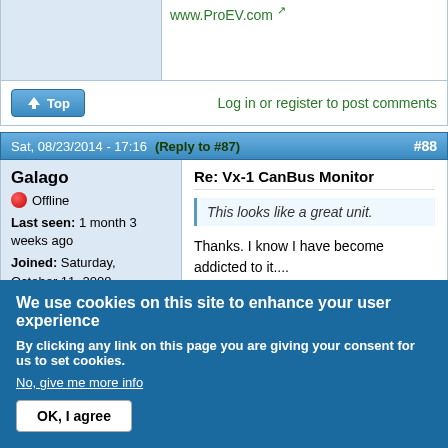www.ProEV.com
Log in or register to post comments
Sat, 08/23/2014 - 17:16 (Reply to #87) #88
Galago
Offline
Last seen: 1 month 3 weeks ago
Joined: Saturday, October 11, 2008 - 09:00
Points: 122
Re: Vx-1 CanBus Monitor
This looks like a great unit.
Thanks. I know I have become addicted to it....
We use cookies on this site to enhance your user experience
By clicking any link on this page you are giving your consent for us to set cookies.
No, give me more info
OK, I agree